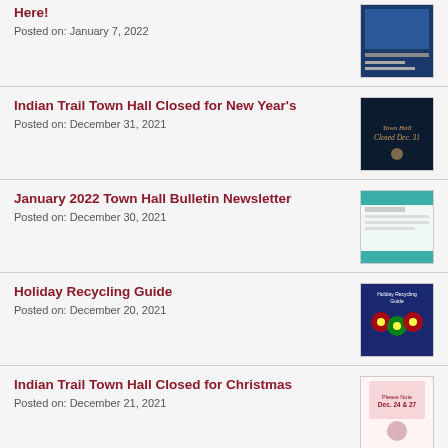Here!
Posted on: January 7, 2022
Indian Trail Town Hall Closed for New Year's
Posted on: December 31, 2021
January 2022 Town Hall Bulletin Newsletter
Posted on: December 30, 2021
Holiday Recycling Guide
Posted on: December 20, 2021
Indian Trail Town Hall Closed for Christmas
Posted on: December 21, 2021
Donald Latham, "Mr. World," Chosen as